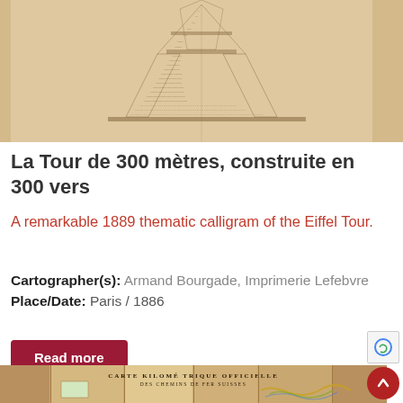[Figure (illustration): A sepia-toned illustration of the Eiffel Tower rendered as calligram — text forming the shape of the tower structure against a warm beige/tan background.]
La Tour de 300 mètres, construite en 300 vers
A remarkable 1889 thematic calligram of the Eiffel Tour.
Cartographer(s): Armand Bourgade, Imprimerie Lefebvre
Place/Date: Paris / 1886
[Figure (other): Partial view of a vintage map titled CARTE KILOMÉTRIQUE OFFICIELLE DES CHEMINS DE FER SUISSES — a Swiss railway kilometric official map on aged sepia paper with colorful railway lines.]